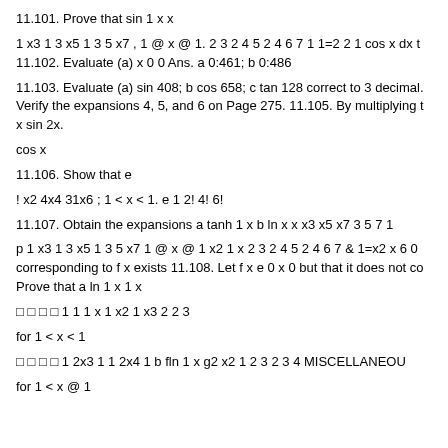11.101. Prove that sin 1 x x
1 x3 1 3 x5 1 3 5 x7 , 1 @ x @ 1. 2 3 2 4 5 2 4 6 7 1 1=2 2 1 cos x dx to 11.102. Evaluate (a) x 0 0 Ans. a 0:461; b 0:486
11.103. Evaluate (a) sin 408; b cos 658; c tan 128 correct to 3 decimal. Verify the expansions 4, 5, and 6 on Page 275. 11.105. By multiplying t x sin 2x.
cos x
11.106. Show that e
! x2 4x4 31x6 ; 1 < x < 1. e 1 2! 4! 6!
11.107. Obtain the expansions a tanh 1 x b ln x x x3 x5 x7 3 5 7 1
p 1 x3 1 3 x5 1 3 5 x7 1 @ x @ 1 x2 1 x 2 3 2 4 5 2 4 6 7 & 1=x2 x 6 0 corresponding to f x exists 11.108. Let f x e 0 x 0 but that it does not co Prove that a ln 1 x 1 x
for 1 < x < 1
for 1 < x @ 1